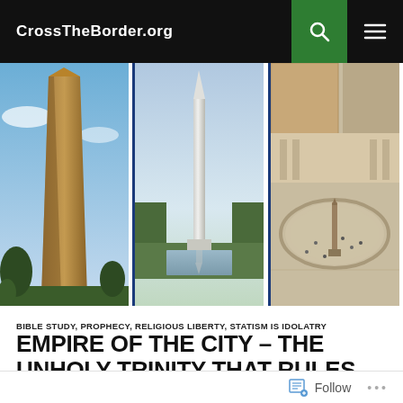CrossTheBorder.org
[Figure (photo): Three obelisk photos side by side: left panel shows an Egyptian obelisk against a blue sky, center panel shows the Washington Monument reflected in the reflecting pool, right panel shows an aerial view of Vatican City's St. Peter's Square with its central obelisk.]
BIBLE STUDY, PROPHECY, RELIGIOUS LIBERTY, STATISM IS IDOLATRY
EMPIRE OF THE CITY – THE UNHOLY TRINITY THAT RULES THE WORLD